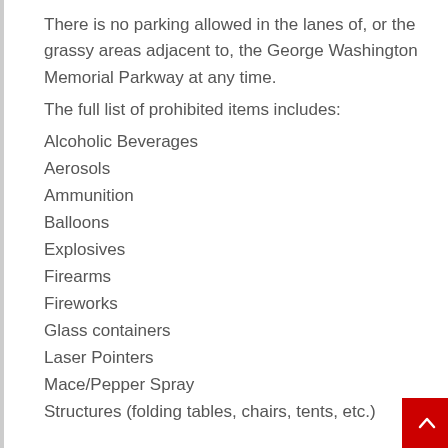There is no parking allowed in the lanes of, or the grassy areas adjacent to, the George Washington Memorial Parkway at any time.
The full list of prohibited items includes:
Alcoholic Beverages
Aerosols
Ammunition
Balloons
Explosives
Firearms
Fireworks
Glass containers
Laser Pointers
Mace/Pepper Spray
Structures (folding tables, chairs, tents, etc.)